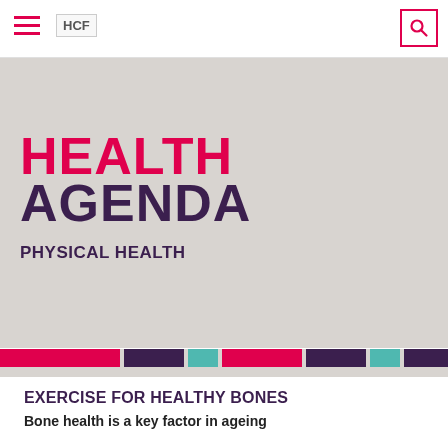HCF
HEALTH AGENDA
PHYSICAL HEALTH
EXERCISE FOR HEALTHY BONES
Bone health is a key factor in ageing